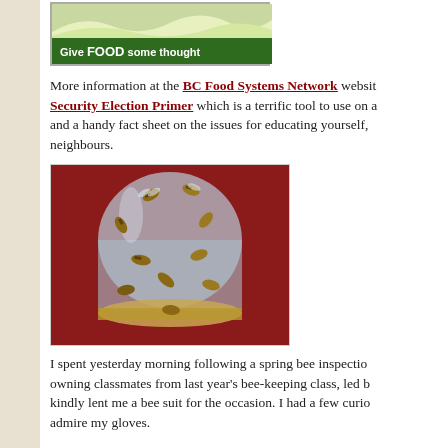[Figure (illustration): Green banner image with wave design and text 'Give FOOD some thought']
More information at the BC Food Systems Network website, Security Election Primer which is a terrific tool to use on and a handy fact sheet on the issues for educating yourself, neighbours.
[Figure (photo): Photo of honey bees crawling on a glass jar with golden lid on a red surface]
I spent yesterday morning following a spring bee inspection owning classmates from last year's bee-keeping class, led b kindly lent me a bee suit for the occasion. I had a few curio admire my gloves.